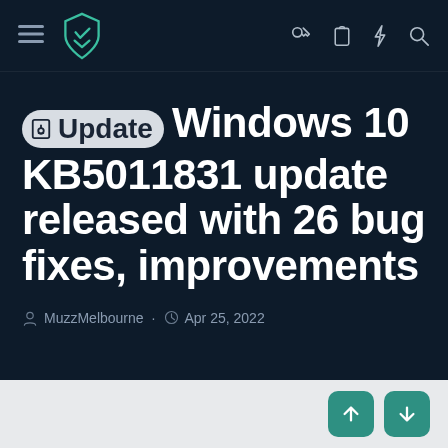MuzzMelbourne navigation bar with logo and icons
Update Windows 10 KB5011831 update released with 26 bug fixes, improvements
MuzzMelbourne · Apr 25, 2022